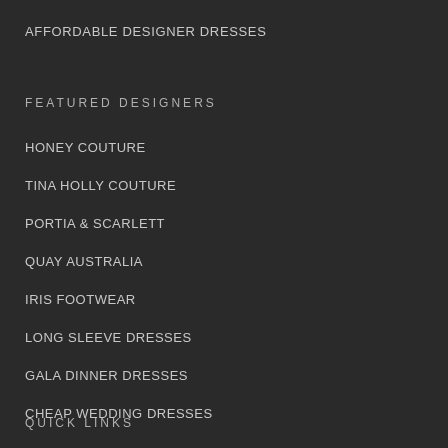AFFORDABLE DESIGNER DRESSES
FEATURED DESIGNERS
HONEY COUTURE
TINA HOLLY COUTURE
PORTIA & SCARLETT
QUAY AUSTRALIA
IRIS FOOTWEAR
LONG SLEEVE DRESSES
GALA DINNER DRESSES
CHEAP WEDDING DRESSES
QUICK LINKS